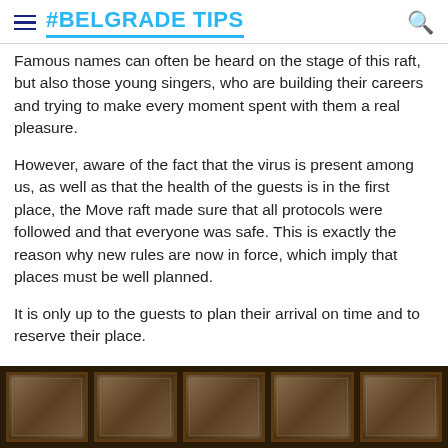#BELGRADE TIPS
Famous names can often be heard on the stage of this raft, but also those young singers, who are building their careers and trying to make every moment spent with them a real pleasure.
However, aware of the fact that the virus is present among us, as well as that the health of the guests is in the first place, the Move raft made sure that all protocols were followed and that everyone was safe. This is exactly the reason why new rules are now in force, which imply that places must be well planned.
It is only up to the guests to plan their arrival on time and to reserve their place.
[Figure (photo): A row of framed pictures or artworks hanging on a dark wooden wall inside what appears to be a raft or club interior.]